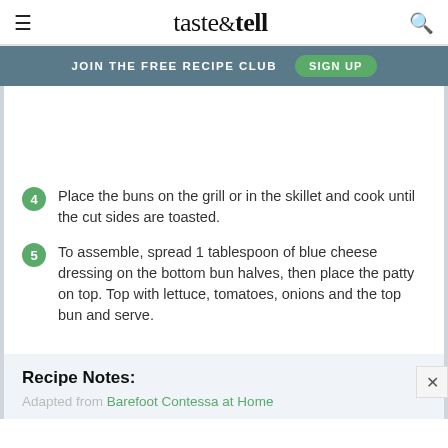taste & tell
JOIN THE FREE RECIPE CLUB  SIGN UP
4 Place the buns on the grill or in the skillet and cook until the cut sides are toasted.
5 To assemble, spread 1 tablespoon of blue cheese dressing on the bottom bun halves, then place the patty on top. Top with lettuce, tomatoes, onions and the top bun and serve.
Recipe Notes:
Adapted from Barefoot Contessa at Home